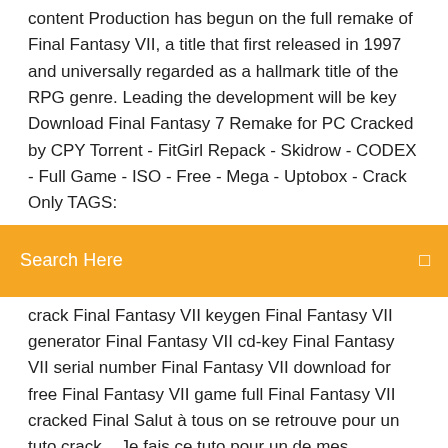content Production has begun on the full remake of Final Fantasy VII, a title that first released in 1997 and universally regarded as a hallmark title of the RPG genre. Leading the development will be key Download Final Fantasy 7 Remake for PC Cracked by CPY Torrent - FitGirl Repack - Skidrow - CODEX - Full Game - ISO - Free - Mega - Uptobox - Crack Only TAGS:
[Figure (other): Orange search bar with text 'Search Here' and a search icon on the right]
crack Final Fantasy VII keygen Final Fantasy VII generator Final Fantasy VII cd-key Final Fantasy VII serial number Final Fantasy VII download for free Final Fantasy VII game full Final Fantasy VII cracked Final Salut à tous on se retrouve pour un tuto crack .. Je fais ce tuto pour un de mes abonnées, bonne vidéo à tous et à la prochaine. .. Hiya friends the link of the game is in start of the video today I am going to show you how to download and install final fantasy vii game for PC free full version without any cost.